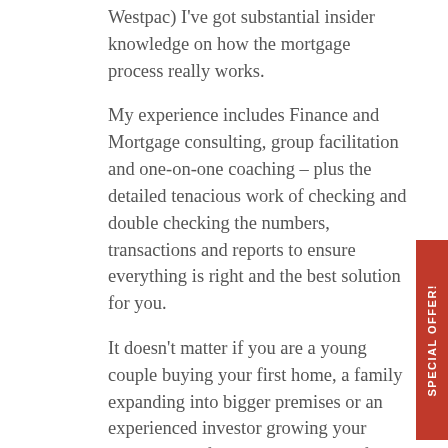Westpac) I've got substantial insider knowledge on how the mortgage process really works.
My experience includes Finance and Mortgage consulting, group facilitation and one-on-one coaching – plus the detailed tenacious work of checking and double checking the numbers, transactions and reports to ensure everything is right and the best solution for you.
It doesn't matter if you are a young couple buying your first home, a family expanding into bigger premises or an experienced investor growing your property portfolio… I'm only satisfied when I've helped you achieve your dreams.